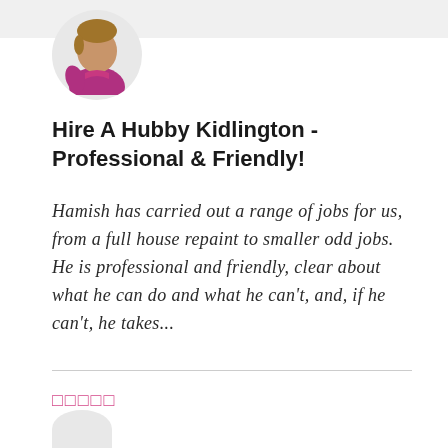[Figure (illustration): Circular avatar of a person wearing a magenta/pink shirt, illustrated style]
Hire A Hubby Kidlington - Professional & Friendly!
Hamish has carried out a range of jobs for us, from a full house repaint to smaller odd jobs. He is professional and friendly, clear about what he can do and what he can't, and, if he can't, he takes...
□□□□□